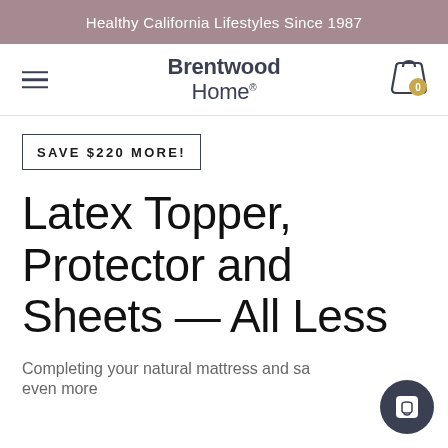Healthy California Lifestyles Since 1987
[Figure (logo): Brentwood Home logo with hamburger menu icon and shopping cart icon]
SAVE $220 MORE!
Latex Topper, Protector and Sheets — All Less
Completing your natural mattress and save even more